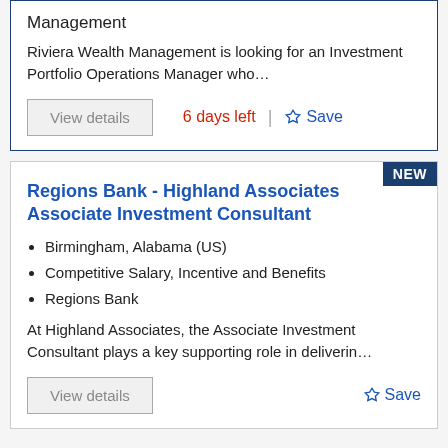Management
Riviera Wealth Management is looking for an Investment Portfolio Operations Manager who…
View details
6 days left
Save
Regions Bank - Highland Associates Associate Investment Consultant
Birmingham, Alabama (US)
Competitive Salary, Incentive and Benefits
Regions Bank
At Highland Associates, the Associate Investment Consultant plays a key supporting role in deliverin…
View details
Save